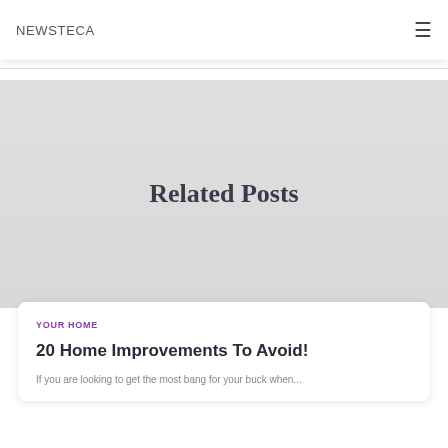NEWSTECA
Related Posts
YOUR HOME
20 Home Improvements To Avoid!
If you are looking to get the most bang for your buck when...